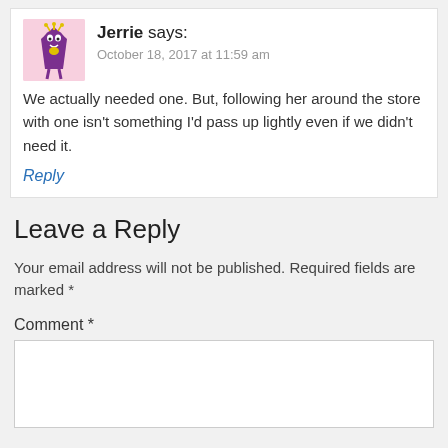[Figure (illustration): Cartoon avatar of a purple character]
Jerrie says:
October 18, 2017 at 11:59 am
We actually needed one. But, following her around the store with one isn't something I'd pass up lightly even if we didn't need it.
Reply
Leave a Reply
Your email address will not be published. Required fields are marked *
Comment *